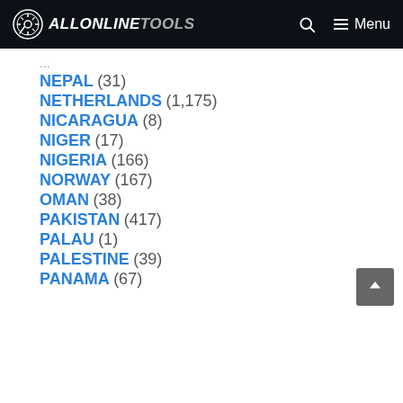ALLONLINETOOLS — Menu
NEPAL (31)
NETHERLANDS (1,175)
NICARAGUA (8)
NIGER (17)
NIGERIA (166)
NORWAY (167)
OMAN (38)
PAKISTAN (417)
PALAU (1)
PALESTINE (39)
PANAMA (67)